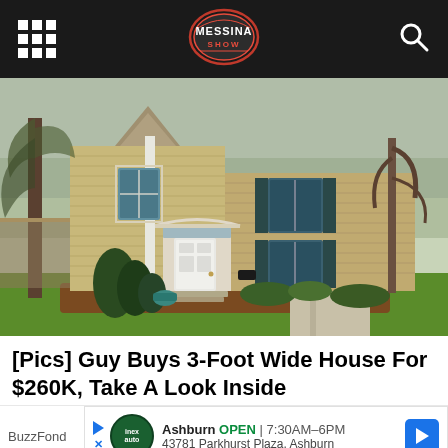Messina Show header with grid icon, logo, and search icon
[Figure (photo): Exterior photo of a two-story beige/tan vinyl-sided house with white front door, arched entry, shutters, landscaped yard with evergreen shrubs and large trees, green lawn, sidewalk]
[Pics] Guy Buys 3-Foot Wide House For $260K, Take A Look Inside
BuzzFond
Ashburn OPEN 7:30AM–6PM 43781 Parkhurst Plaza, Ashburn